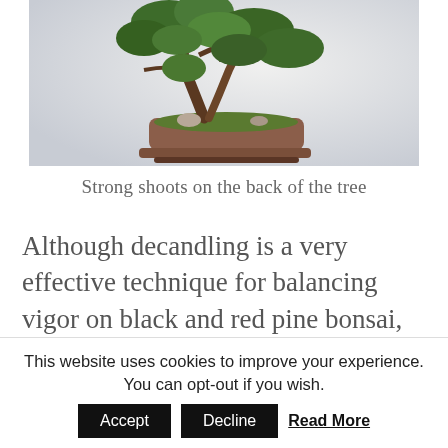[Figure (photo): A bonsai tree in a rectangular brown pot, displayed against a light gray/white background. The tree has spreading green foliage and a thick twisted trunk.]
Strong shoots on the back of the tree
Although decandling is a very effective technique for balancing vigor on black and red pine bonsai, it's not the only
This website uses cookies to improve your experience. You can opt-out if you wish.
Accept
Decline
Read More